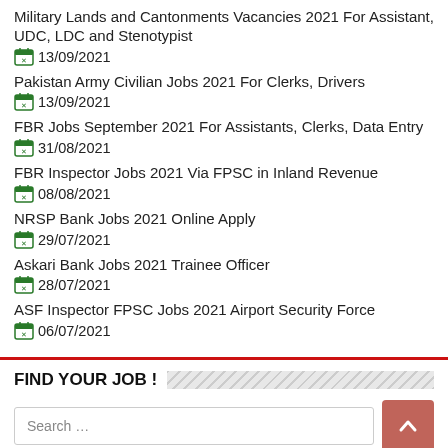Military Lands and Cantonments Vacancies 2021 For Assistant, UDC, LDC and Stenotypist
13/09/2021
Pakistan Army Civilian Jobs 2021 For Clerks, Drivers
13/09/2021
FBR Jobs September 2021 For Assistants, Clerks, Data Entry
31/08/2021
FBR Inspector Jobs 2021 Via FPSC in Inland Revenue
08/08/2021
NRSP Bank Jobs 2021 Online Apply
29/07/2021
Askari Bank Jobs 2021 Trainee Officer
28/07/2021
ASF Inspector FPSC Jobs 2021 Airport Security Force
06/07/2021
FIND YOUR JOB !
Search …